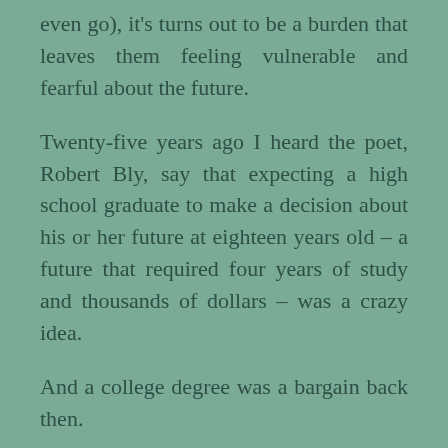even go), it's turns out to be a burden that leaves them feeling vulnerable and fearful about the future.
Twenty-five years ago I heard the poet, Robert Bly, say that expecting a high school graduate to make a decision about his or her future at eighteen years old – a future that required four years of study and thousands of dollars – was a crazy idea.
And a college degree was a bargain back then.
Instead, he suggested we send children